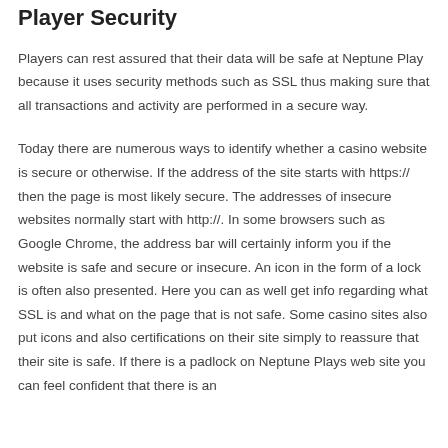Player Security
Players can rest assured that their data will be safe at Neptune Play because it uses security methods such as SSL thus making sure that all transactions and activity are performed in a secure way.
Today there are numerous ways to identify whether a casino website is secure or otherwise. If the address of the site starts with https:// then the page is most likely secure. The addresses of insecure websites normally start with http://. In some browsers such as Google Chrome, the address bar will certainly inform you if the website is safe and secure or insecure. An icon in the form of a lock is often also presented. Here you can as well get info regarding what SSL is and what on the page that is not safe. Some casino sites also put icons and also certifications on their site simply to reassure that their site is safe. If there is a padlock on Neptune Plays web site you can feel confident that there is an